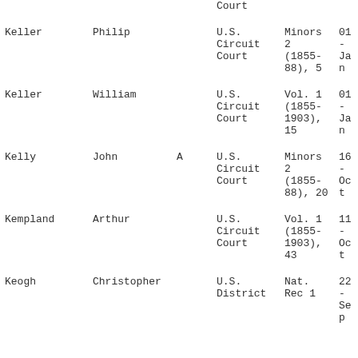| Last Name | First Name | MI | Court | Volume/Page | Date |
| --- | --- | --- | --- | --- | --- |
|  |  |  | Court |  |  |
| Keller | Philip |  | U.S. Circuit Court | Minors 2 (1855-88), 5 | 01-Jan |
| Keller | William |  | U.S. Circuit Court | Vol. 1 (1855-1903), 15 | 01-Jan |
| Kelly | John | A | U.S. Circuit Court | Minors 2 (1855-88), 20 | 16-Oct |
| Kempland | Arthur |  | U.S. Circuit Court | Vol. 1 (1855-1903), 43 | 11-Oct |
| Keogh | Christopher |  | U.S. District | Nat. Rec 1 | 22-Sep |